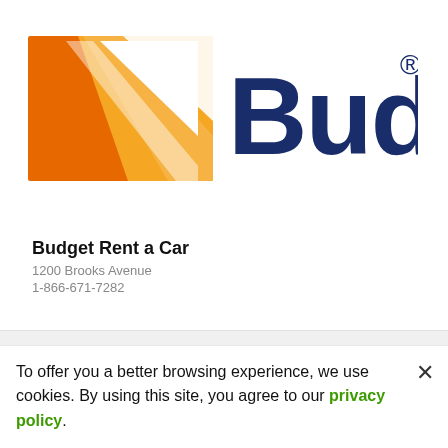[Figure (logo): Budget Rent a Car logo with orange and white chevron/arrow graphic on the left and dark navy blue 'Budget' text with registered trademark symbol on the right]
Budget Rent a Car
1200 Brooks Avenue
1-866-671-7282
[Figure (screenshot): Map area with three short horizontal lines representing a collapsed/minimal map view]
To offer you a better browsing experience, we use cookies. By using this site, you agree to our privacy policy.